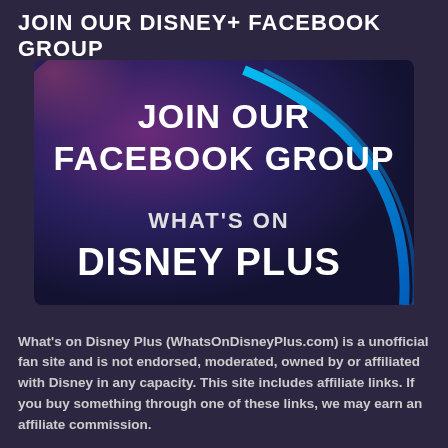JOIN OUR DISNEY+ FACEBOOK GROUP
[Figure (illustration): Promotional banner with dark purple/blue gradient background, text 'JOIN OUR FACEBOOK GROUP' in large white bold letters at top, and 'WHAT'S ON DISNEY PLUS' in large white bold letters below with a cyan/blue arc swoosh graphic element on the right side.]
What's on Disney Plus (WhatsOnDisneyPlus.com) is a unofficial fan site and is not endorsed, moderated, owned by or affiliated with Disney in any capacity. This site includes affiliate links. If you buy something through one of these links, we may earn an affiliate commission.